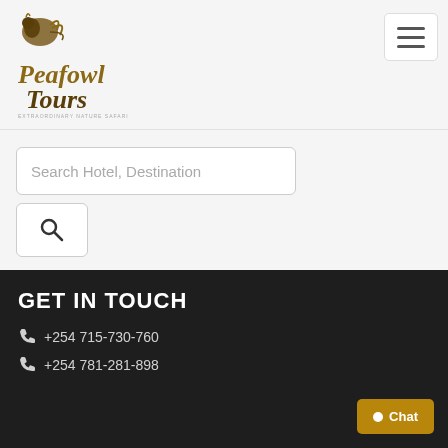[Figure (logo): Peafowl Tours logo with stylized peacock and text in golden-brown serif font]
[Figure (other): Hamburger menu button (three horizontal lines) in top right corner]
Search Hotel, Destination
[Figure (photo): Large herd of wildebeest stampeding across dusty savanna landscape]
GET IN TOUCH
+254 715-730-760
+254 781-281-898
Chat